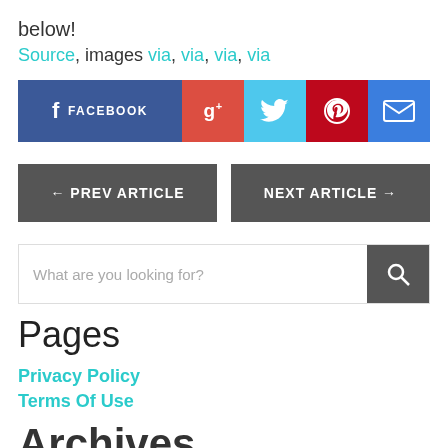below!
Source, images via, via, via, via
[Figure (infographic): Social share buttons: Facebook, Google+, Twitter, Pinterest, Email]
[Figure (infographic): Navigation buttons: PREV ARTICLE and NEXT ARTICLE]
What are you looking for?
Pages
Privacy Policy
Terms Of Use
Archives